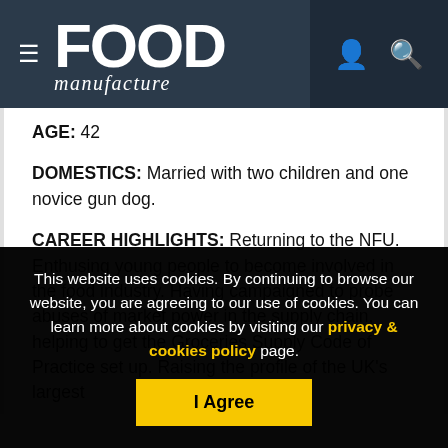FOOD manufacture
AGE: 42
DOMESTICS: Married with two children and one novice gun dog.
CAREER HIGHLIGHTS: Returning to the NFU. Enthusing young people to become involved in the food industry. Having campaigned to probe abuses of market power in the supply chain, helping to get the Groceries Supply Code of Practice set up. Raising the profile of the UK's largest
This website uses cookies. By continuing to browse our website, you are agreeing to our use of cookies. You can learn more about cookies by visiting our privacy & cookies policy page.
I Agree